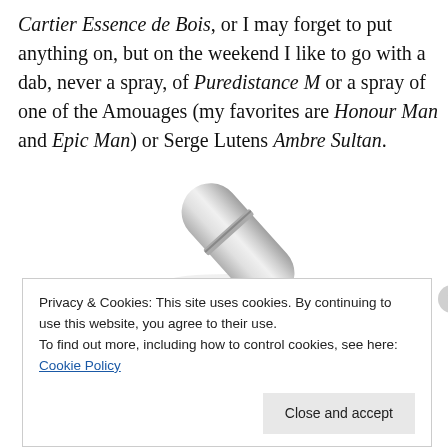Cartier Essence de Bois, or I may forget to put anything on, but on the weekend I like to go with a dab, never a spray, of Puredistance M or a spray of one of the Amouages (my favorites are Honour Man and Epic Man) or Serge Lutens Ambre Sultan.
[Figure (photo): A silver metallic perfume atomizer/travel spray bottle, photographed diagonally on a white background.]
Privacy & Cookies: This site uses cookies. By continuing to use this website, you agree to their use.
To find out more, including how to control cookies, see here: Cookie Policy